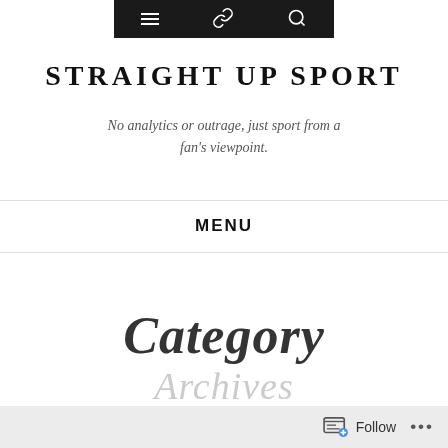Navigation bar with hamburger, link, and search icons
STRAIGHT UP SPORT
No analytics or outrage, just sport from a fan's viewpoint.
MENU
Category
Follow ...